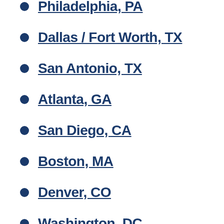Philadelphia, PA
Dallas / Fort Worth, TX
San Antonio, TX
Atlanta, GA
San Diego, CA
Boston, MA
Denver, CO
Washington, DC
Phoenix / Scottsdale, AZ
Austin, TX
San Francisco, CA
St. Louis, MO
Tampa, FL
Indianapolis, IN
Grand Rapids, MI